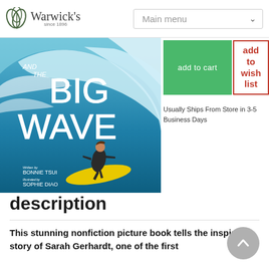Warwick's since 1896 | Main menu
[Figure (photo): Book cover: 'and the BIG WAVE' - illustrated children's book with a child surfing a big wave on a yellow surfboard. Written by Bonnie Tsui, Illustrated by Sophie Diao.]
add to cart
add to wish list
Usually Ships From Store in 3-5 Business Days
description
This stunning nonfiction picture book tells the inspiring story of Sarah Gerhardt, one of the first